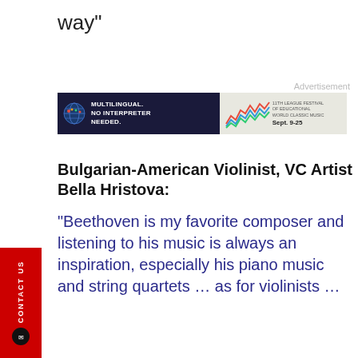way"
[Figure (other): Advertisement banner: Multilingual. No Interpreter Needed. Sept. 9-25]
Bulgarian-American Violinist, VC Artist Bella Hristova:
“Beethoven is my favorite composer and listening to his music is always an inspiration, especially his piano music and string quartets … as for violinists …